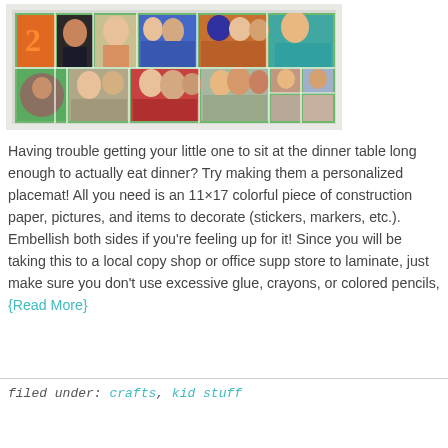[Figure (photo): A photo collage placemat showing multiple family/children photos arranged on a colorful green background, displayed on a table surface]
Having trouble getting your little one to sit at the dinner table long enough to actually eat dinner? Try making them a personalized placemat! All you need is an 11×17 colorful piece of construction paper, pictures, and items to decorate (stickers, markers, etc.). Embellish both sides if you're feeling up for it! Since you will be taking this to a local copy shop or office supply store to laminate, just make sure you don't use excessive glue, crayons, or colored pencils, {Read More}
filed under: crafts, kid stuff